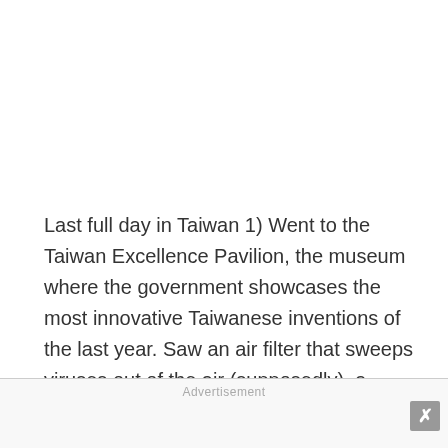Last full day in Taiwan 1) Went to the Taiwan Excellence Pavilion, the museum where the government showcases the most innovative Taiwanese inventions of the last year. Saw an air filter that sweeps viruses out of the air (supposedly), a contact lens that retains twice as much moisture (need that!), a track suit made of coffee grounds that also traps body odor and, most impressively, a self-r...
Advertisement